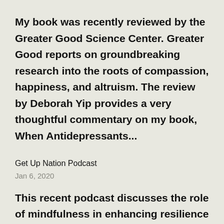My book was recently reviewed by the Greater Good Science Center. Greater Good reports on groundbreaking research into the roots of compassion, happiness, and altruism. The review by Deborah Yip provides a very thoughtful commentary on my book, When Antidepressants...
Get Up Nation Podcast
Jan 6, 2020
This recent podcast discusses the role of mindfulness in enhancing resilience in the